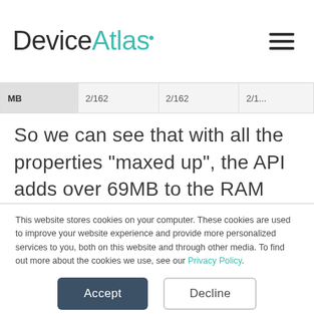DeviceAtlas
| MB | 2/162 | 2/162 | 2/1... |
So we can see that with all the properties "maxed up", the API adds over 69MB to the RAM usage. For
This website stores cookies on your computer. These cookies are used to improve your website experience and provide more personalized services to you, both on this website and through other media. To find out more about the cookies we use, see our Privacy Policy.

We won't track your information when you visit our site. But in order to comply with your preferences, we'll have to use just one tiny cookie so that you're not asked to make this choice again.
Accept
Decline